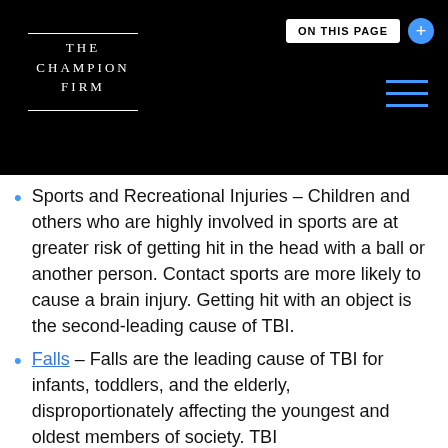THE CHAMPION FIRM — ON THIS PAGE
Sports and Recreational Injuries – Children and others who are highly involved in sports are at greater risk of getting hit in the head with a ball or another person. Contact sports are more likely to cause a brain injury. Getting hit with an object is the second-leading cause of TBI.
Falls – Falls are the leading cause of TBI for infants, toddlers, and the elderly, disproportionately affecting the youngest and oldest members of society. TBI